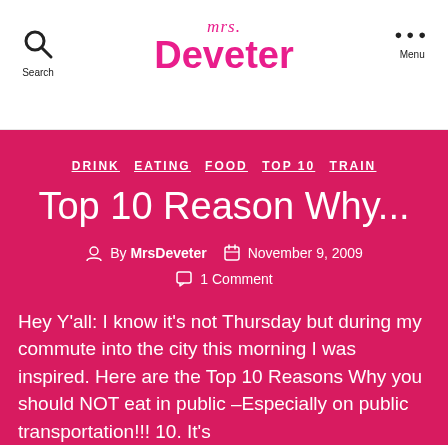mrs. Deveter — Search | Menu
DRINK   EATING   FOOD   TOP 10   TRAIN
Top 10 Reason Why...
By MrsDeveter   November 9, 2009   1 Comment
Hey Y'all: I know it's not Thursday but during my commute into the city this morning I was inspired. Here are the Top 10 Reasons Why you should NOT eat in public –Especially on public transportation!!! 10. It's